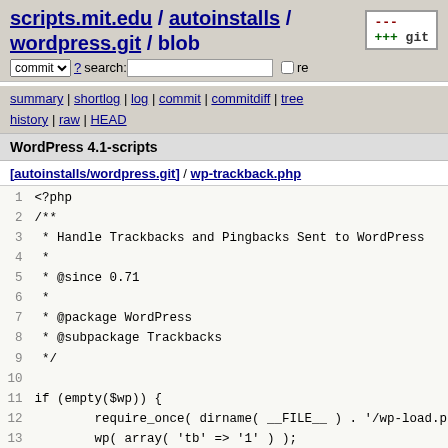scripts.mit.edu / autoinstalls / wordpress.git / blob
summary | shortlog | log | commit | commitdiff | tree history | raw | HEAD
WordPress 4.1-scripts
[autoinstalls/wordpress.git] / wp-trackback.php
1  <?php
2  /**
3   * Handle Trackbacks and Pingbacks Sent to WordPress
4   *
5   * @since 0.71
6   *
7   * @package WordPress
8   * @subpackage Trackbacks
9   */
10
11  if (empty($wp)) {
12          require_once( dirname( __FILE__ ) . '/wp-load.p
13          wp( array( 'tb' => '1' ) );
14  }
15
16  /**
17   * Response to a trackback.
18   *
19   * Responds with an error or success XML message.